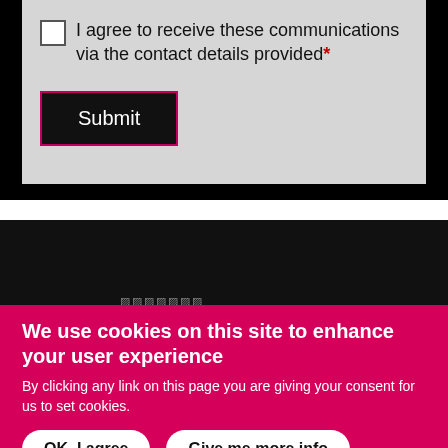I agree to receive these communications via the contact details provided*
Submit
We use cookies on this site to enhance your user experience
By clicking any link on this page you are giving your consent for us to set cookies.
OK, I agree
Give me more info